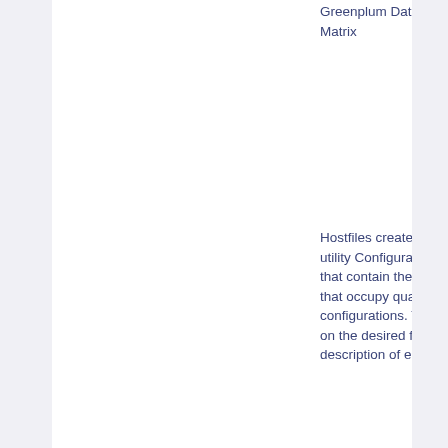Greenplum Database Compatibility Matrix
Hostfiles created by the DCA Setup utility Configuration files are text files that contain the hostnames of servers that occupy quarter, half, or full rack configurations. The file used depends on the desired function. See below for a description of each